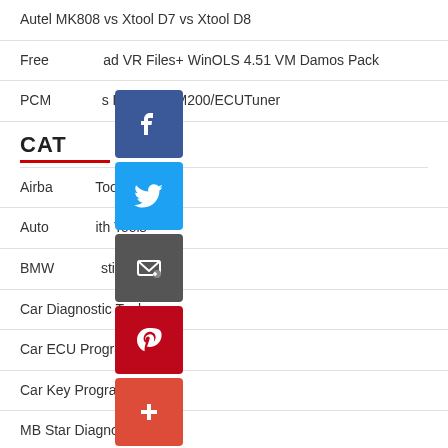Autel MK808 vs Xtool D7 vs Xtool D8
Free [icon] ad VR Files+ WinOLS 4.51 VM Damos Pack
PCM [icon] s KT200/KTM200/ECUTuner
CATEGORIES
Airba [icon] Tool
Auto [icon] ith Tools
BMW [icon] stic Tool
Car Diagnostic Tool
Car ECU Programmer
Car Key Programmer
MB Star Diagnosis
OBD2 Code Scanner